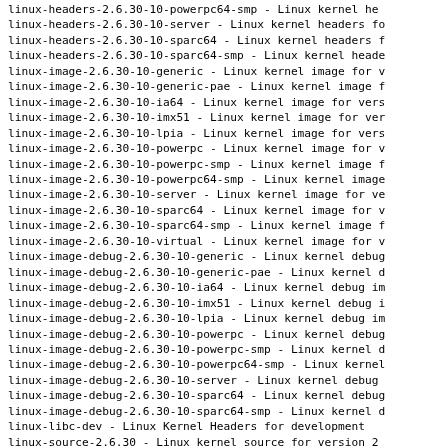linux-headers-2.6.30-10-powerpc64-smp - Linux kernel he
linux-headers-2.6.30-10-server - Linux kernel headers fo
linux-headers-2.6.30-10-sparc64 - Linux kernel headers f
linux-headers-2.6.30-10-sparc64-smp - Linux kernel heade
linux-image-2.6.30-10-generic - Linux kernel image for v
linux-image-2.6.30-10-generic-pae - Linux kernel image f
linux-image-2.6.30-10-ia64 - Linux kernel image for vers
linux-image-2.6.30-10-imx51 - Linux kernel image for ver
linux-image-2.6.30-10-lpia - Linux kernel image for vers
linux-image-2.6.30-10-powerpc - Linux kernel image for v
linux-image-2.6.30-10-powerpc-smp - Linux kernel image f
linux-image-2.6.30-10-powerpc64-smp - Linux kernel image
linux-image-2.6.30-10-server - Linux kernel image for ve
linux-image-2.6.30-10-sparc64 - Linux kernel image for v
linux-image-2.6.30-10-sparc64-smp - Linux kernel image f
linux-image-2.6.30-10-virtual - Linux kernel image for v
linux-image-debug-2.6.30-10-generic - Linux kernel debug
linux-image-debug-2.6.30-10-generic-pae - Linux kernel d
linux-image-debug-2.6.30-10-ia64 - Linux kernel debug im
linux-image-debug-2.6.30-10-imx51 - Linux kernel debug i
linux-image-debug-2.6.30-10-lpia - Linux kernel debug im
linux-image-debug-2.6.30-10-powerpc - Linux kernel debug
linux-image-debug-2.6.30-10-powerpc-smp - Linux kernel d
linux-image-debug-2.6.30-10-powerpc64-smp - Linux kernel
linux-image-debug-2.6.30-10-server - Linux kernel debug
linux-image-debug-2.6.30-10-sparc64 - Linux kernel debug
linux-image-debug-2.6.30-10-sparc64-smp - Linux kernel d
linux-libc-dev - Linux Kernel Headers for development
linux-source-2.6.30 - Linux kernel source for version 2
Launchpad-Bugs-Fixed: 382115